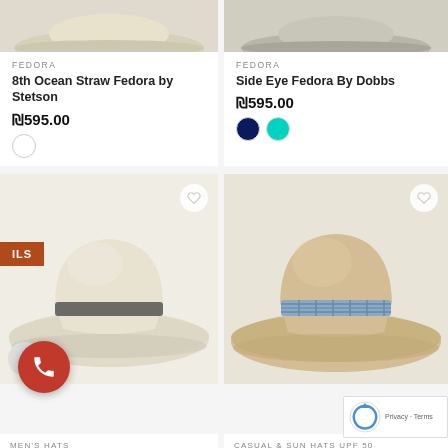[Figure (photo): Top portion of beige/cream fedora hat, cropped]
FEDORA
8th Ocean Straw Fedora by Stetson
₪595.00
[Figure (photo): Top portion of grey fedora hat, cropped]
FEDORA
Side Eye Fedora By Dobbs
₪595.00
[Figure (photo): Cream/white Panama hat with dark brown band]
MEN'S HATS
D... ontecristi Panama Hat b... cristi Hats
₪595.00
[Figure (photo): Tan/khaki wide-brim Panama hat with blue plaid band]
CASUAL & SUN HATS UPF 50
Puyo Panama Hat By Sh...
₪450.00